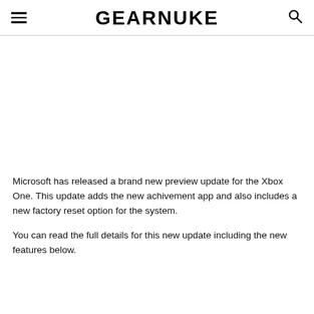GEARNUKE
Microsoft has released a brand new preview update for the Xbox One. This update adds the new achivement app and also includes a new factory reset option for the system.
You can read the full details for this new update including the new features below.